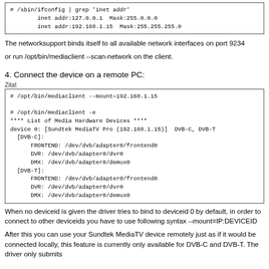[Figure (screenshot): Terminal code block showing: # /sbin/ifconfig | grep 'inet addr'  with output: inet addr:127.0.0.1  Mask:255.0.0.0 and inet addr:192.168.1.15  Mask:255.255.255.0]
The networksupport binds itself to all available network interfaces on port 9234
or run /opt/bin/mediaclient --scan-network on the client.
4. Connect the device on a remote PC:
Zitat
[Figure (screenshot): Terminal code block showing mediaclient commands and output listing Media Hardware Devices including Sundtek MediaTV Pro at 192.168.1.15 with DVB-C and DVB-T adapters]
When no deviceid is given the driver tries to bind to deviceid 0 by default, in order to connect to other deviceids you have to use following syntax --mount=IP:DEVICEID
After this you can use your Sundtek MediaTV device remotely just as if it would be connected locally, this feature is currently only available for DVB-C and DVB-T. The driver only submits